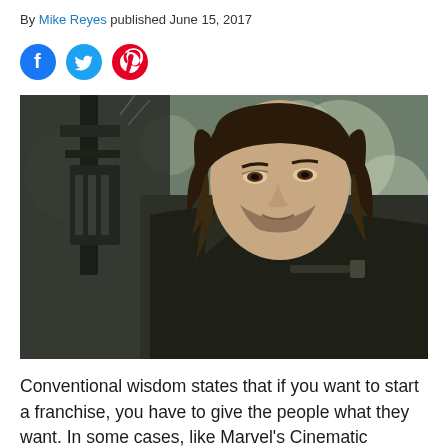By Mike Reyes published June 15, 2017
[Figure (other): Social media share icons: Facebook (blue circle with f), Twitter (teal circle with bird), Pinterest (red circle with P)]
[Figure (photo): A man with long dark hair holding a crossbow-like weapon, wearing a black leather jacket, looking intently to the side. Outdoor blurred background.]
Conventional wisdom states that if you want to start a franchise, you have to give the people what they want. In some cases, like Marvel's Cinematic Universe, this